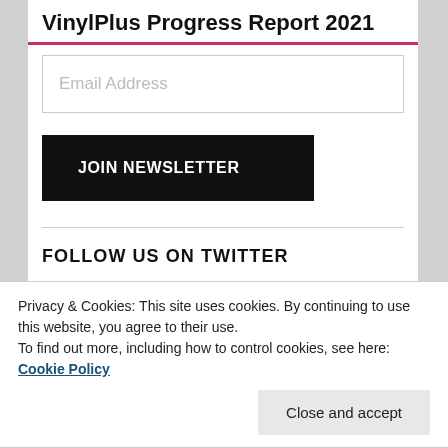VinylPlus Progress Report 2021
Email Address
JOIN NEWSLETTER
FOLLOW US ON TWITTER
Privacy & Cookies: This site uses cookies. By continuing to use this website, you agree to their use.
To find out more, including how to control cookies, see here: Cookie Policy
Close and accept
[Figure (illustration): Twitter bird logo on blue background with world map]